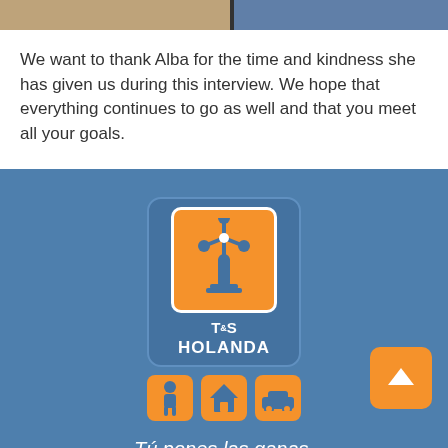[Figure (photo): Cropped photo strip showing two people, partially visible at the top of the page]
We want to thank Alba for the time and kindness she has given us during this interview. We hope that everything continues to go as well and that you meet all your goals.
[Figure (logo): T&S HOLANDA logo with a windmill icon on orange background, three service icons (person, house, car) below on orange squares, displayed on blue background]
Tú pones las ganas,